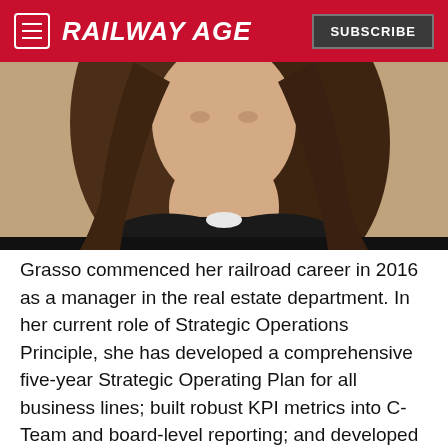RAILWAY AGE | SUBSCRIBE
[Figure (photo): Portrait photo of a woman with long brown hair wearing a black blazer, photographed from the shoulders up against a light background.]
Grasso commenced her railroad career in 2016 as a manager in the real estate department. In her current role of Strategic Operations Principle, she has developed a comprehensive five-year Strategic Operating Plan for all business lines; built robust KPI metrics into C-Team and board-level reporting; and developed targeted action plans to increase operational effectiveness against KPIs, including efforts to reduce employee